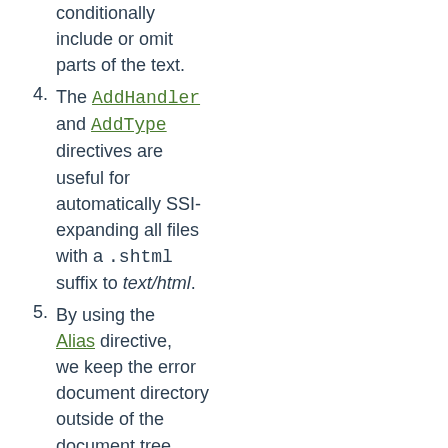conditionally include or omit parts of the text.
4. The AddHandler and AddType directives are useful for automatically SSI-expanding all files with a .shtml suffix to text/html.
5. By using the Alias directive, we keep the error document directory outside of the document tree because it can be regarded more as a server part than part of the document tree.
6. The <Directory>